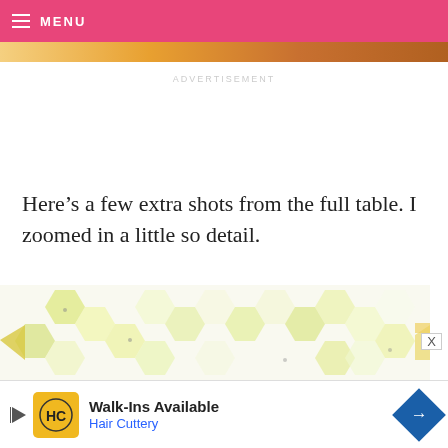MENU
[Figure (photo): Top image strip showing food/table content in warm tones]
ADVERTISEMENT
Here’s a few extra shots from the full table. I zoomed in a little so detail.
[Figure (photo): Honeycomb-pattern decorative image with yellow and white hexagonal shapes]
[Figure (screenshot): Advertisement banner for Hair Cuttery - Walk-Ins Available]